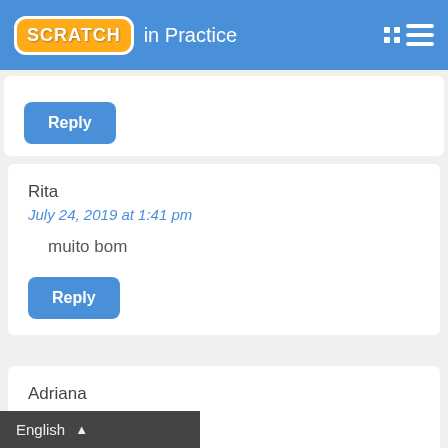SCRATCH in Practice
Reply
Rita
July 24, 2019 at 1:41 pm

mui bom
muito bom
Reply
Adriana
July 24, 2019 at 2:51 pm
Muito instrutivo!
English